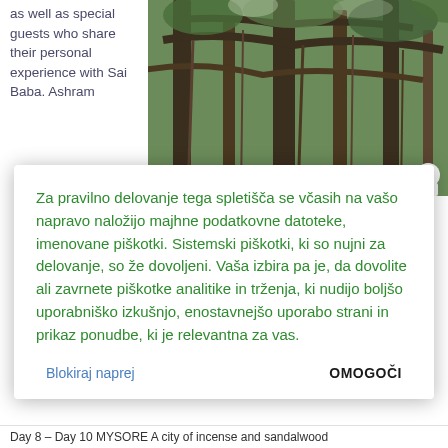as well as special guests who share their personal experience with Sai Baba. Ashram
[Figure (photo): Photo of a large banyan tree with aerial roots and branches, people visible at the bottom right]
Za pravilno delovanje tega spletišča se včasih na vašo napravo naložijo majhne podatkovne datoteke, imenovane piškotki. Sistemski piškotki, ki so nujni za delovanje, so že dovoljeni. Vaša izbira pa je, da dovolite ali zavrnete piškotke analitike in trženja, ki nudijo boljšo uporabniško izkušnjo, enostavnejšo uporabo strani in prikaz ponudbe, ki je relevantna za vas.
Blokiraj naprej
OMOGOČI
Day 8 – Day 10 MYSORE A city of incense and sandalwood